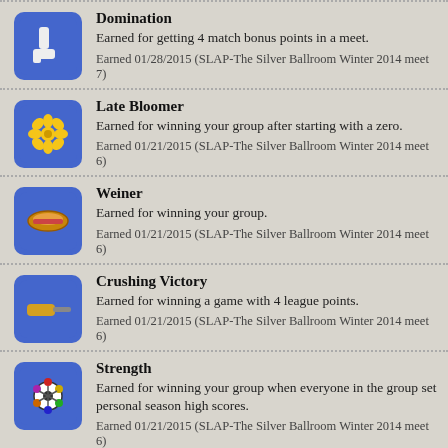Domination
Earned for getting 4 match bonus points in a meet.
Earned 01/28/2015 (SLAP-The Silver Ballroom Winter 2014 meet 7)
Late Bloomer
Earned for winning your group after starting with a zero.
Earned 01/21/2015 (SLAP-The Silver Ballroom Winter 2014 meet 6)
Weiner
Earned for winning your group.
Earned 01/21/2015 (SLAP-The Silver Ballroom Winter 2014 meet 6)
Crushing Victory
Earned for winning a game with 4 league points.
Earned 01/21/2015 (SLAP-The Silver Ballroom Winter 2014 meet 6)
Strength
Earned for winning your group when everyone in the group set personal season high scores.
Earned 01/21/2015 (SLAP-The Silver Ballroom Winter 2014 meet 6)
Best in Show
Earned for having the top score for a machine in a meet.
Earned 01/21/2015 (SLAP-The Silver Ballroom Winter 2014 meet 6)